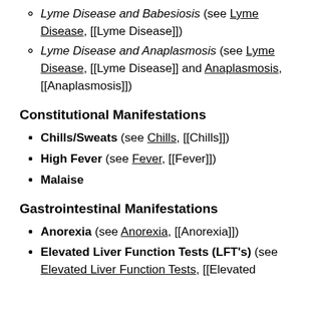Lyme Disease and Babesiosis (see Lyme Disease, [[Lyme Disease]])
Lyme Disease and Anaplasmosis (see Lyme Disease, [[Lyme Disease]] and Anaplasmosis, [[Anaplasmosis]])
Constitutional Manifestations
Chills/Sweats (see Chills, [[Chills]])
High Fever (see Fever, [[Fever]])
Malaise
Gastrointestinal Manifestations
Anorexia (see Anorexia, [[Anorexia]])
Elevated Liver Function Tests (LFT's) (see Elevated Liver Function Tests, [[Elevated